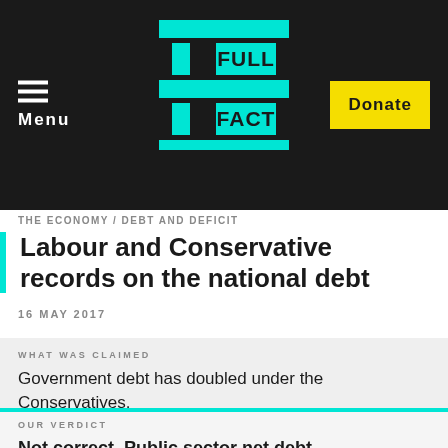Menu | FULL FACT | Donate
THE ECONOMY / DEBT AND DEFICIT
Labour and Conservative records on the national debt
16 MAY 2017
WHAT WAS CLAIMED
Government debt has doubled under the Conservatives.
OUR VERDICT
Not correct. Public sector net debt, adjusted for inflation, rose by 53%